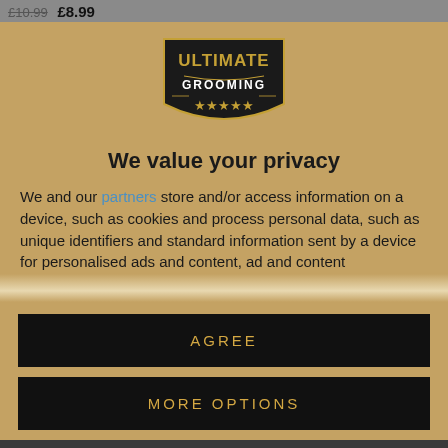£10.99 £8.99
[Figure (logo): Ultimate Grooming logo — black shield shape with gold text 'ULTIMATE GROOMING' and five gold stars]
We value your privacy
We and our partners store and/or access information on a device, such as cookies and process personal data, such as unique identifiers and standard information sent by a device for personalised ads and content, ad and content measurement, and audience insights, as well as to develop and improve products. With your permission we and our partners may use precise geolocation data and identification through device scanning. You may click to consent to our and our partners'
AGREE
MORE OPTIONS